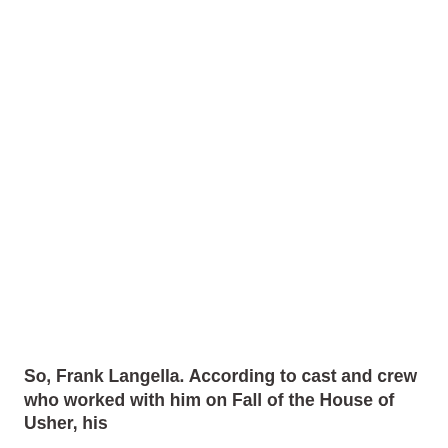So, Frank Langella. According to cast and crew who worked with him on Fall of the House of Usher, his